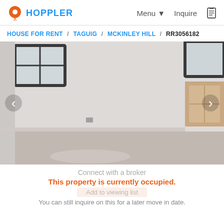HOPPLER | Menu | Inquire
HOUSE FOR RENT / TAGUIG / MCKINLEY HILL / RR3056182
[Figure (photo): Interior photo of an empty room with white walls, wooden floor, windows with dark frames, and electrical outlets visible on walls. Left and right navigation arrows overlay the image.]
Connect with a broker
This property is currently occupied.
Add to viewing list
You can still inquire on this for a later move in date.